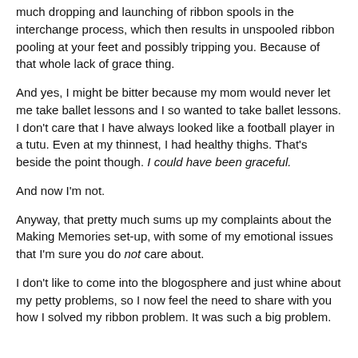much dropping and launching of ribbon spools in the interchange process, which then results in unspooled ribbon pooling at your feet and possibly tripping you. Because of that whole lack of grace thing.
And yes, I might be bitter because my mom would never let me take ballet lessons and I so wanted to take ballet lessons. I don't care that I have always looked like a football player in a tutu. Even at my thinnest, I had healthy thighs. That's beside the point though. I could have been graceful.
And now I’m not.
Anyway, that pretty much sums up my complaints about the Making Memories set-up, with some of my emotional issues that I'm sure you do not care about.
I don't like to come into the blogosphere and just whine about my petty problems, so I now feel the need to share with you how I solved my ribbon problem. It was such a big problem.